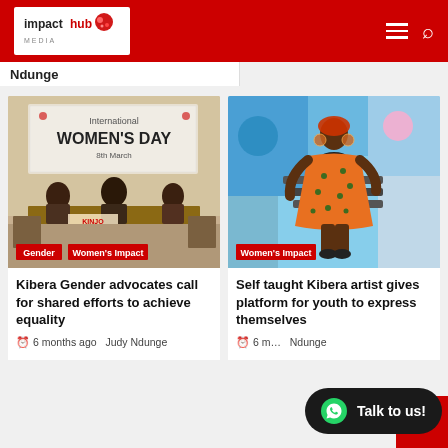Impact Hub Media
Ndunge
[Figure (photo): International Women's Day event with banner reading 'International Women's Day 8th March' and attendees seated at a table with KINJO branding visible. Tags: Gender, Women's Impact]
Kibera Gender advocates call for shared efforts to achieve equality
6 months ago  Judy Ndunge
[Figure (photo): Self-taught Kibera artist in orange patterned dress posing in front of colorful artwork. Tag: Women's Impact]
Self taught Kibera artist gives platform for youth to express themselves
6 months ago  Judy Ndunge
Talk to us!